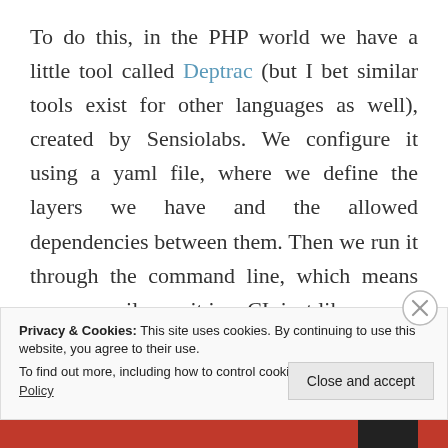To do this, in the PHP world we have a little tool called Deptrac (but I bet similar tools exist for other languages as well), created by Sensiolabs. We configure it using a yaml file, where we define the layers we have and the allowed dependencies between them. Then we run it through the command line, which means we can easily run it in a CI, just like we run a test suite in the CI.
We can even have it create a diagram of the dependencies, which will visually show us the dependencies, including the ones breaking the
Privacy & Cookies: This site uses cookies. By continuing to use this website, you agree to their use.
To find out more, including how to control cookies, see here: Cookie Policy
Close and accept